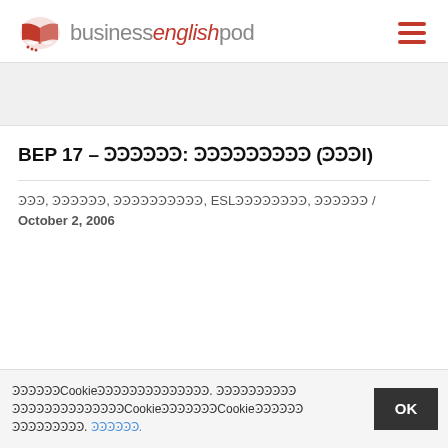businessenglishpod
BEP 17 – ??????: ????????? (???l)
???, ??????, ??????????, ESL????????, ?????? / October 2, 2006
??????Cookie??????????????. ????????????????????????????Cookie???????Cookie????????????. ??????.